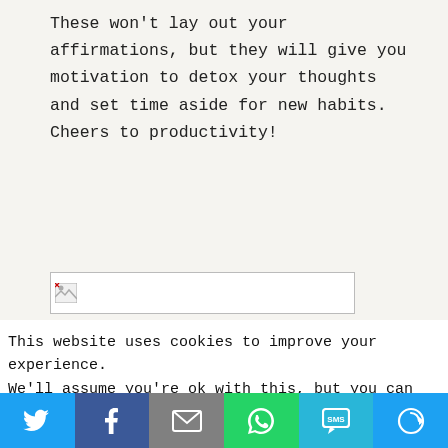These won't lay out your affirmations, but they will give you motivation to detox your thoughts and set time aside for new habits. Cheers to productivity!
[Figure (other): Broken image placeholder box with broken image icon]
This website uses cookies to improve your experience. We'll assume you're ok with this, but you can opt-out if
[Figure (infographic): Social share bar with buttons: Twitter (blue bird icon), Facebook (dark blue f icon), Email (gray envelope icon), WhatsApp (green phone icon), SMS (light blue SMS icon), More (blue circle-arrow icon)]